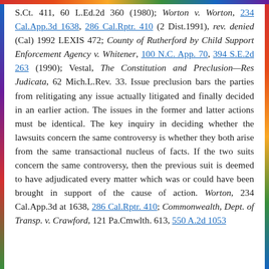S.Ct. 411, 60 L.Ed.2d 360 (1980); Worton v. Worton, 234 Cal.App.3d 1638, 286 Cal.Rptr. 410 (2 Dist.1991), rev. denied (Cal) 1992 LEXIS 472; County of Rutherford by Child Support Enforcement Agency v. Whitener, 100 N.C. App. 70, 394 S.E.2d 263 (1990); Vestal, The Constitution and Preclusion—Res Judicata, 62 Mich.L.Rev. 33. Issue preclusion bars the parties from relitigating any issue actually litigated and finally decided in an earlier action. The issues in the former and latter actions must be identical. The key inquiry in deciding whether the lawsuits concern the same controversy is whether they both arise from the same transactional nucleus of facts. If the two suits concern the same controversy, then the previous suit is deemed to have adjudicated every matter which was or could have been brought in support of the cause of action. Worton, 234 Cal.App.3d at 1638, 286 Cal.Rptr. 410; Commonwealth, Dept. of Transp. v. Crawford, 121 Pa.Cmwlth. 613, 550 A.2d 1053